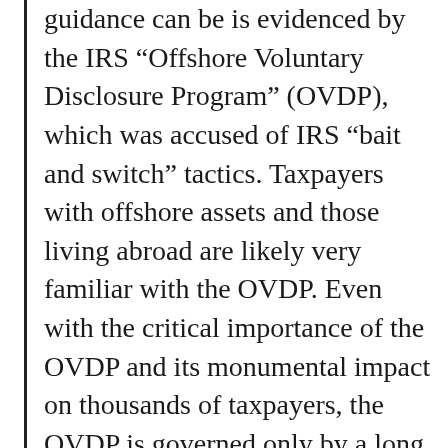guidance can be is evidenced by the IRS “Offshore Voluntary Disclosure Program” (OVDP), which was accused of IRS “bait and switch” tactics. Taxpayers with offshore assets and those living abroad are likely very familiar with the OVDP. Even with the critical importance of the OVDP and its monumental impact on thousands of taxpayers, the OVDP is governed only by a long series of FAQs (and much agency secrecy). Taxpayers must be reminded these FAQs are not binding authority, even though the FAQs themselves do not indicate any